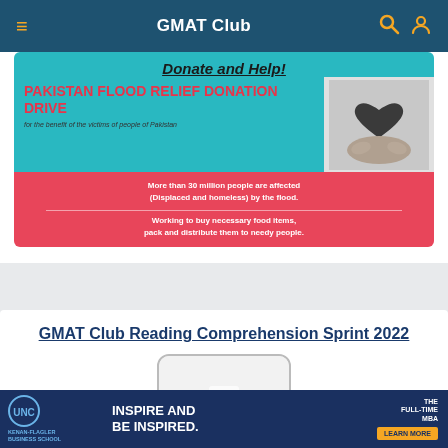GMAT Club
[Figure (infographic): Pakistan Flood Relief Donation Drive banner. Teal top section with 'Donate and Help!' title, red/coral section with text about 30 million people affected, working to buy food items. Right side shows hands holding a heart-shaped stone.]
GMAT Club Reading Comprehension Sprint 2022
[Figure (illustration): Partial image with red and white elements, partially cut off at bottom of card.]
[Figure (infographic): UNC Kenan-Flagler Business School advertisement banner. 'INSPIRE AND BE INSPIRED. THE FULL-TIME MBA. LEARN MORE']